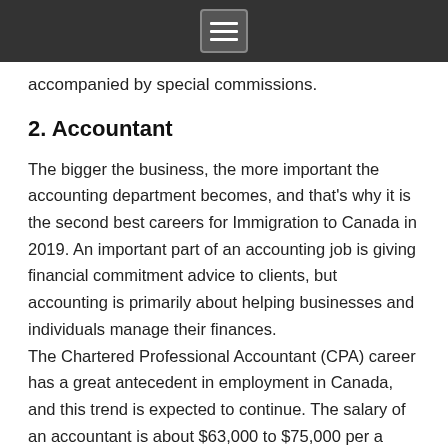[menu icon]
accompanied by special commissions.
2. Accountant
The bigger the business, the more important the accounting department becomes, and that's why it is the second best careers for Immigration to Canada in 2019. An important part of an accounting job is giving financial commitment advice to clients, but accounting is primarily about helping businesses and individuals manage their finances. The Chartered Professional Accountant (CPA) career has a great antecedent in employment in Canada, and this trend is expected to continue. The salary of an accountant is about $63,000 to $75,000 per a year, and about 720 job recruitments for accounting have been registered with Job Bank.
3. Nursing